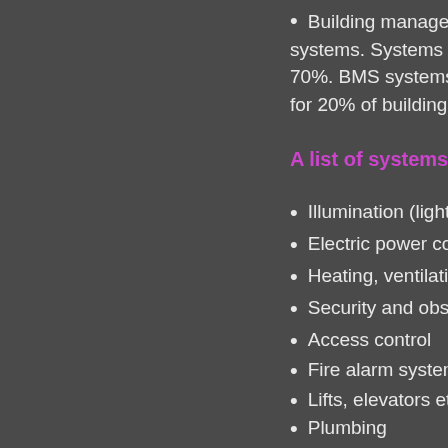Building management sy... systems. Systems linked to ... 70%. BMS systems are a c... for 20% of building energy u...
A list of systems that ca...
Illumination (lighting) con...
Electric power control
Heating, ventilation, and ...
Security and observation...
Access control
Fire alarm system
Lifts, elevators etc.
Plumbing
Closed-circuit television (...
Other engineering syster...